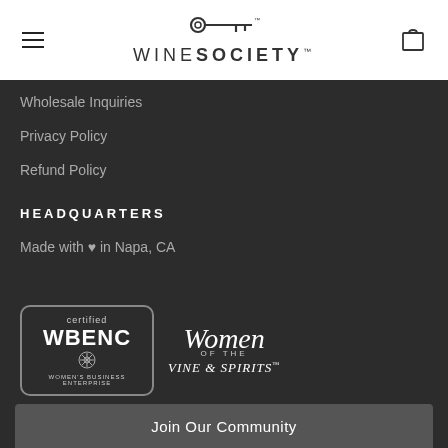[Figure (logo): Wine Society logo with key icon above the text WINE SOCIETY]
Wholesale Inquiries
Privacy Policy
Refund Policy
HEADQUARTERS
Made with ♥ in Napa, CA
[Figure (logo): Certified WBENC Women's Business Enterprise badge]
[Figure (logo): Women of the Vine & Spirits logo]
Join Our Community